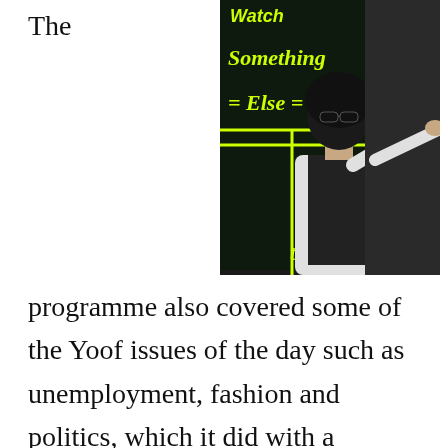The
[Figure (photo): Photo of a dark-haired person wearing sunglasses and a black vest over a white shirt, holding a microphone on stage. Behind them is a neon yellow sign reading 'Watch Something Else'.]
programme also covered some of the Yoof issues of the day such as unemployment, fashion and politics, which it did with a mixture of in the studio discussions and pre-recorded VTs. Infact, it was a bit like Why Don't